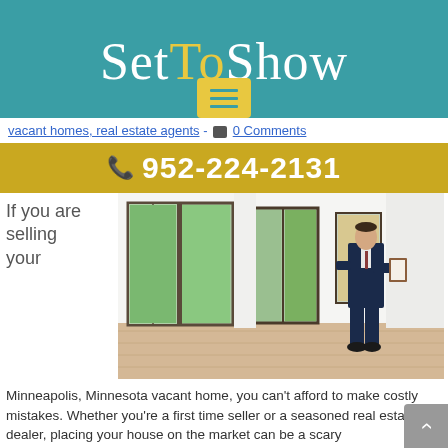SetToShow
vacant homes, real estate agents - 0 Comments
952-224-2131
If you are selling your
[Figure (photo): Real estate agent in a suit holding a clipboard standing in an empty bright interior room with large floor-to-ceiling windows and hardwood floors.]
Minneapolis, Minnesota vacant home, you can't afford to make costly mistakes.  Whether you're a first time seller or a seasoned real estate dealer, placing your house on the market can be a scary